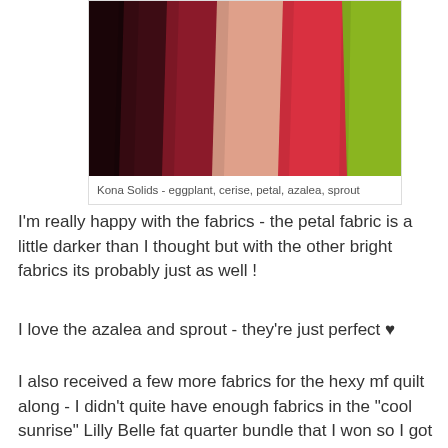[Figure (photo): Photo of Kona solid fabrics in strips: eggplant (dark maroon), cerise (dark red), petal (light pink/peach), azalea (bright red-pink), sprout (lime green)]
Kona Solids - eggplant, cerise, petal, azalea, sprout
I'm really happy with the fabrics - the petal fabric is a little darker than I thought but with the other bright fabrics its probably just as well !
I love the azalea and sprout - they're just perfect ♥
I also received a few more fabrics for the hexy mf quilt along - I didn't quite have enough fabrics in the "cool sunrise" Lilly Belle fat quarter bundle that I won so I got some more Lilly Belle "warm sunset" fabrics that will put a bit of pink into the quilt - and you know how I love pink ;)